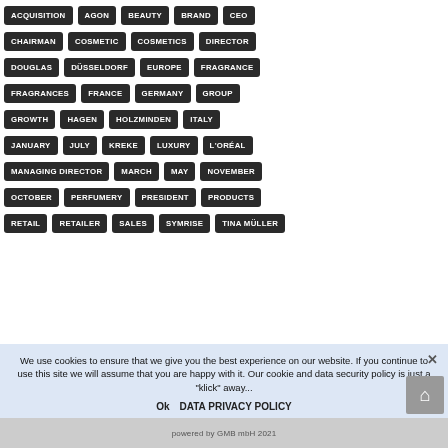ACQUISITION
AGON
BEAUTY
BRAND
CEO
CHAIRMAN
COSMETIC
COSMETICS
DIRECTOR
DOUGLAS
DÜSSELDORF
EUROPE
FRAGRANCE
FRAGRANCES
FRANCE
GERMANY
GROUP
GROWTH
HAGEN
HOLZMINDEN
ITALY
JANUARY
JULY
KREKE
LUXURY
L'ORÉAL
MANAGING DIRECTOR
MARCH
MAY
NOVEMBER
OCTOBER
PERFUMERY
PRESIDENT
PRODUCTS
RETAIL
RETAILER
SALES
SYMRISE
TINA MÜLLER
We use cookies to ensure that we give you the best experience on our website. If you continue to use this site we will assume that you are happy with it. Our cookie and data security policy is just a "klick" away...
Ok   DATA PRIVACY POLICY
powered by GMB mbH 2021